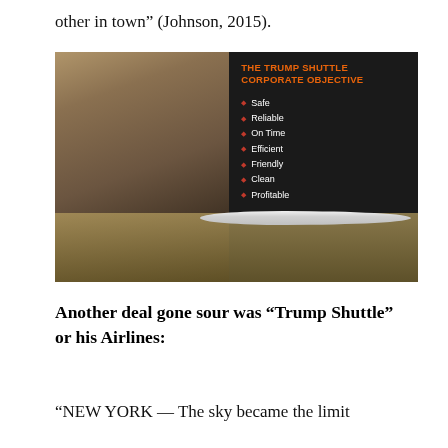other in town” (Johnson, 2015).
[Figure (photo): A man in a dark suit sitting at a desk with a model airplane, in front of a dark board reading 'The Trump Shuttle Corporate Objective' with bullet points: Safe, Reliable, On Time, Efficient, Friendly, Clean, Profitable]
Another deal gone sour was “Trump Shuttle” or his Airlines:
“NEW YORK — The sky became the limit